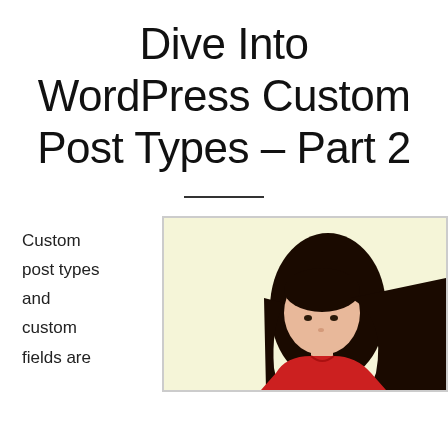Dive Into WordPress Custom Post Types – Part 2
Custom post types and custom fields are
[Figure (illustration): Illustration of a woman with long dark hair wearing a red top, shown from shoulders up, against a pale yellow background with a light gray border]